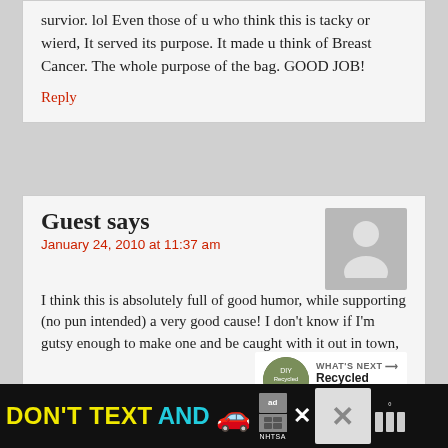survior. lol Even those of u who think this is tacky or wierd, It served its purpose. It made u think of Breast Cancer. The whole purpose of the bag. GOOD JOB!
Reply
Guest says
January 24, 2010 at 11:37 am
I think this is absolutely full of good humor, while supporting (no pun intended) a very good cause! I don't know if I'm gutsy enough to make one and be caught with it out in town, but I can see this making a huge statement in the hands of a confident, fun woman. 🙂
Reply
[Figure (infographic): WHAT'S NEXT arrow label with Recycled China Junk... thumbnail and circular image]
Lady Enter...
[Figure (screenshot): DON'T TEXT AND [car emoji] advertisement banner with ad choice icon and NHTSA logo]